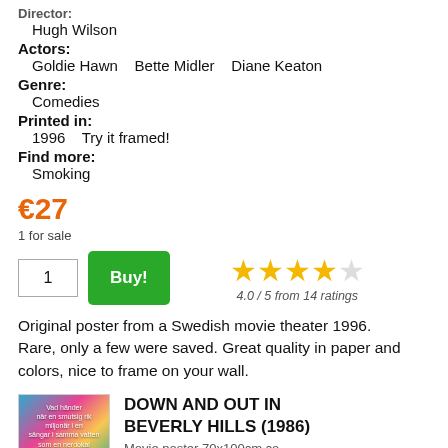Director:
Hugh Wilson
Actors:
Goldie Hawn   Bette Midler   Diane Keaton
Genre:
Comedies
Printed in:
1996   Try it framed!
Find more:
Smoking
€27
1 for sale
4.0 / 5 from 14 ratings
Original poster from a Swedish movie theater 1996. Rare, only a few were saved. Great quality in paper and colors, nice to frame on your wall.
DOWN AND OUT IN BEVERLY HILLS (1986)
Movie poster 70x100cm co